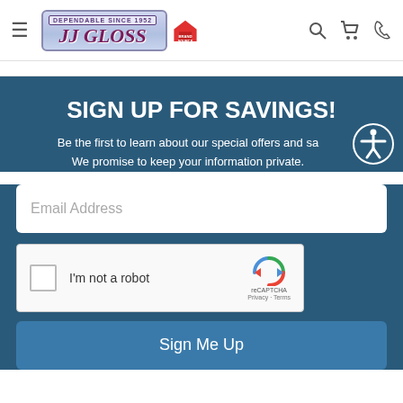[Figure (logo): JJ Gloss Brand Source logo with hamburger menu and navigation icons (search, cart, phone)]
SIGN UP FOR SAVINGS!
Be the first to learn about our special offers and sa... We promise to keep your information private.
Email Address
[Figure (screenshot): reCAPTCHA widget with checkbox labeled I'm not a robot]
Sign Me Up